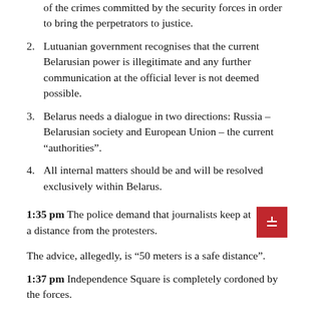of the crimes committed by the security forces in order to bring the perpetrators to justice.
2. Lutuanian government recognises that the current Belarusian power is illegitimate and any further communication at the official lever is not deemed possible.
3. Belarus needs a dialogue in two directions: Russia – Belarusian society and European Union – the current “authorities”.
4. All internal matters should be and will be resolved exclusively within Belarus.
1:35 pm The police demand that journalists keep at a distance from the protesters.
The advice, allegedly, is “50 meters is a safe distance”.
1:37 pm Independence Square is completely cordoned by the forces.